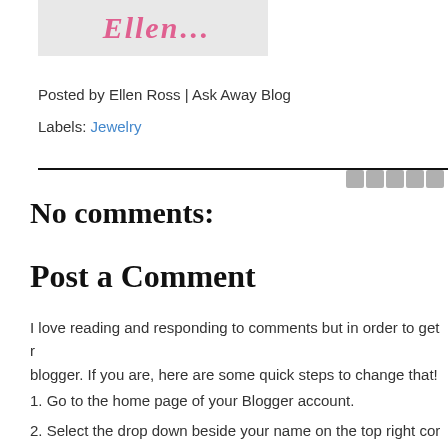[Figure (logo): Blog logo with pink cursive text partially visible, on gray background]
Posted by Ellen Ross | Ask Away Blog
Labels: Jewelry
No comments:
Post a Comment
I love reading and responding to comments but in order to get r... blogger. If you are, here are some quick steps to change that!
1. Go to the home page of your Blogger account.
2. Select the drop down beside your name on the top right cor...